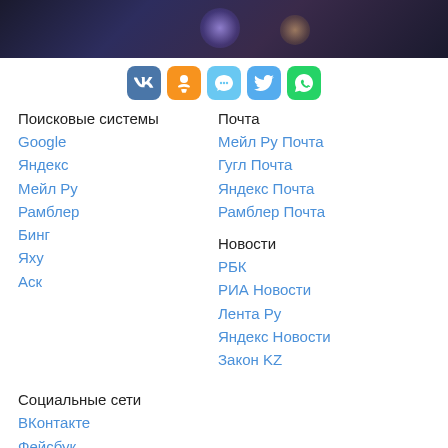[Figure (photo): Dark blurred photo banner with bokeh lights at top]
[Figure (infographic): Row of 5 social media icon buttons: VK (blue), OK (orange), message (light blue), Twitter (blue), WhatsApp (green)]
Поисковые системы
Google
Яндекс
Мейл Ру
Рамблер
Бинг
Яху
Аск
Почта
Мейл Ру Почта
Гугл Почта
Яндекс Почта
Рамблер Почта
Новости
РБК
РИА Новости
Лента Ру
Яндекс Новости
Закон KZ
Социальные сети
ВКонтакте
Фейсбук
Одноклассники
Мой Мир
Твиттер
Инстаграм